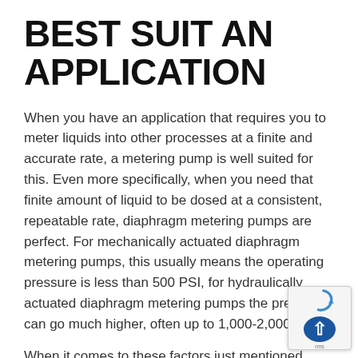BEST SUIT AN APPLICATION
When you have an application that requires you to meter liquids into other processes at a finite and accurate rate, a metering pump is well suited for this. Even more specifically, when you need that finite amount of liquid to be dosed at a consistent, repeatable rate, diaphragm metering pumps are perfect. For mechanically actuated diaphragm metering pumps, this usually means the operating pressure is less than 500 PSI, for hydraulically actuated diaphragm metering pumps the pressures can go much higher, often up to 1,000-2,000 PSI.
When it comes to these factors just mentioned,